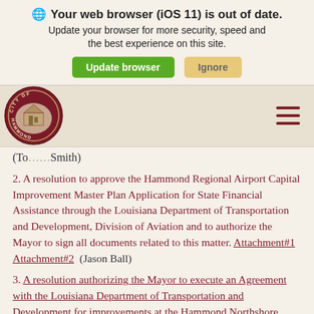Your web browser (iOS 11) is out of date. Update your browser for more security, speed and the best experience on this site.
[Figure (screenshot): Two buttons: green 'Update browser' and tan 'Ignore']
[Figure (logo): City of Hammond circular seal logo in dark red/maroon]
(To... ...Smith)
2. A resolution to approve the Hammond Regional Airport Capital Improvement Master Plan Application for State Financial Assistance through the Louisiana Department of Transportation and Development, Division of Aviation and to authorize the Mayor to sign all documents related to this matter. Attachment#1 Attachment#2 (Jason Ball)
3. A resolution authorizing the Mayor to execute an Agreement with the Louisiana Department of Transportation and Development for improvements at the Hammond Northshore Regional Airport [State Project...